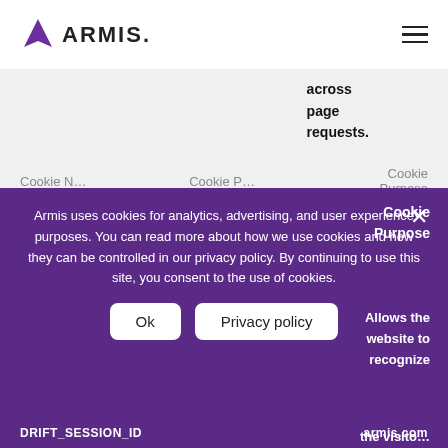ARMIS
| Cookie | Cookie Provider | Cookie Purpose |
| --- | --- | --- |
|  |  | across page requests. |
Performance and Functionality Cookies
These cookies are used to enhance the performance and functionality of our Services but are non-essential to their use. However, without these cookies, certain functionality may become unavailable. We use the following performance and functionality cookies:
| Cookie Name | Cookie Provider | Cookie Purpose |
| --- | --- | --- |
| DRIFT_SESSION_ID | armis.com | Allows the website to recognize the visitor |
Armis uses cookies for analytics, advertising, and user experience purposes. You can read more about how we use cookies and how they can be controlled in our privacy policy. By continuing to use this site, you consent to the use of cookies.